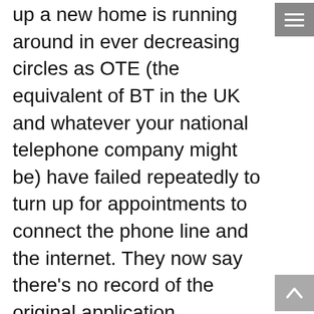up a new home is running around in ever decreasing circles as OTE (the equivalent of BT in the UK and whatever your national telephone company might be) have failed repeatedly to turn up for appointments to connect the phone line and the internet. They now say there’s no record of the original application
In the physical body Mercury links to breathing and the lungs. Someone else turned up at the pulmonologist with his ct scan on a disc – the disc was blank, instead of the one with his results
A woman set up a business with a friend she’d known for years and would’ve trusted with her life. They’d even worked together at the next… Mercury att…